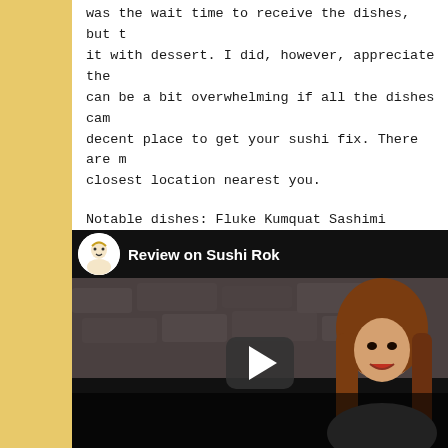was the wait time to receive the dishes, but it with dessert. I did, however, appreciate the can be a bit overwhelming if all the dishes cam decent place to get your sushi fix. There are m closest location nearest you.
Notable dishes: Fluke Kumquat Sashimi
And check out my video below:
[Figure (screenshot): YouTube video thumbnail showing a review titled 'Review on Sushi Rok' with a woman presenter and YouTube play button overlay]